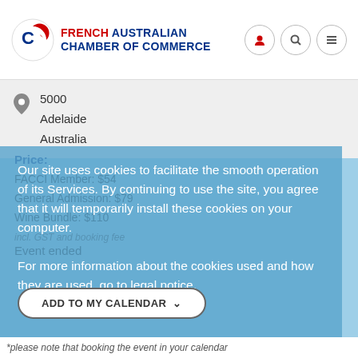[Figure (logo): French Australian Chamber of Commerce logo with stylized C icon in red and blue, text reading FRENCH AUSTRALIAN CHAMBER OF COMMERCE]
5000
Adelaide
Australia
Price:
FACCI Member: $54
General Admission: $79
Wine Bundle: $110
incl. GST and booking fee
Event ended
Our site uses cookies to facilitate the smooth operation of its Services. By continuing to use the site, you agree that it will temporarily install these cookies on your computer.
For more information about the cookies used and how they are used, go to legal notice.
ADD TO MY CALENDAR ∨
*please note that booking the event in your calendar